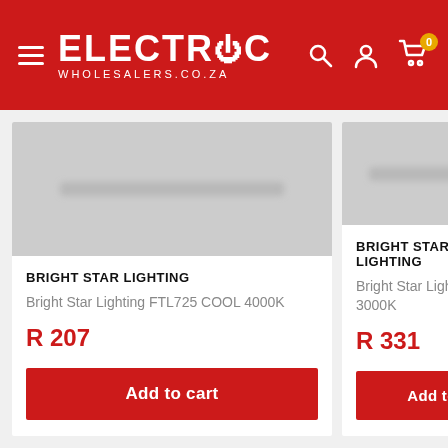[Figure (logo): Electric Wholesalers logo on red header with hamburger menu, search, user, and cart icons]
[Figure (photo): Product image for Bright Star Lighting FTL725 COOL 4000K, blurred grey placeholder]
BRIGHT STAR LIGHTING
Bright Star Lighting FTL725 COOL 4000K
R 207
Add to cart
[Figure (photo): Product image for Bright Star Lighting 3000K, blurred grey placeholder (partially visible, right side)]
BRIGHT STAR LIGHTING
Bright Star Lighting 3000K
R 331
Add to